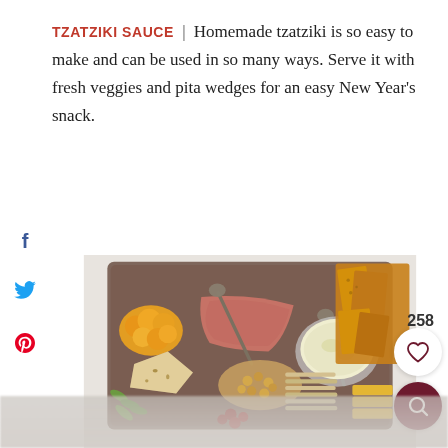TZATZIKI SAUCE | Homemade tzatziki is so easy to make and can be used in so many ways. Serve it with fresh veggies and pita wedges for an easy New Year's snack.
[Figure (photo): Overhead view of a charcuterie/snack board with dried apricots, cheese, prosciutto, pickles, nuts, crackers, and a bowl of tzatziki dip, with decorative serving utensils. Social sharing icons (Facebook, Twitter, Pinterest) on the left side. Save count 258 and heart/search buttons on the right.]